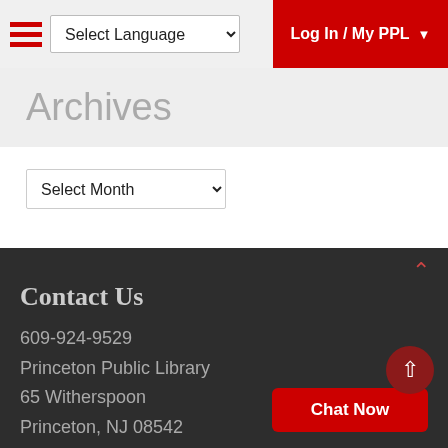Select Language | Log In / My PPL
Archives
Select Month
Back to the Blog
Contact Us
609-924-9529
Princeton Public Library
65 Witherspoon
Princeton, NJ 08542
Chat Now